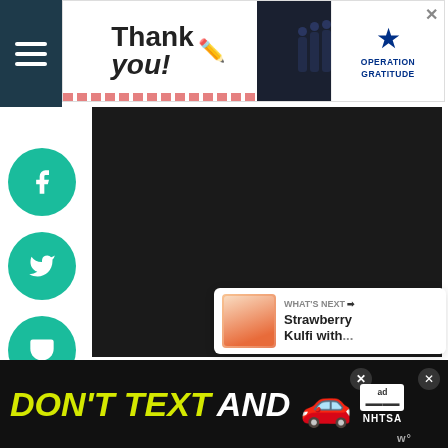[Figure (screenshot): Top navigation menu hamburger icon on dark teal/navy background]
[Figure (screenshot): Top banner advertisement: Thank you with American flag design, firefighters group photo, and Operation Gratitude logo with X close button]
[Figure (screenshot): Social media sharing sidebar with teal circular buttons: Facebook (f), Twitter (bird), Pocket, Pinterest (P), Yummly (Yum), Email (envelope)]
[Figure (screenshot): Main content area - dark/black video or embedded media region]
[Figure (screenshot): Right side action buttons: heart/like button and share button (circular grey buttons)]
W
[Figure (screenshot): What's Next card with thumbnail image showing Strawberry Kulfi with... text and arrow]
WHAT'S NEXT → Strawberry Kulfi with...
[Figure (screenshot): Bottom advertisement banner: DON'T TEXT AND (car emoji) with NHTSA logo and close buttons on black background]